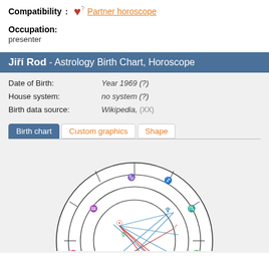Compatibility: ♥? Partner horoscope
Occupation: presenter
Jiří Rod - Astrology Birth Chart, Horoscope
Date of Birth: Year 1969 (?)
House system: no system (?)
Birth data source: Wikipedia, (XX)
Birth chart | Custom graphics | Shape
[Figure (other): Astrology birth chart wheel showing zodiac signs and planetary positions for Jiří Rod, born 1969. The chart contains planetary symbols in red, blue, and green with aspect lines connecting them inside the wheel.]